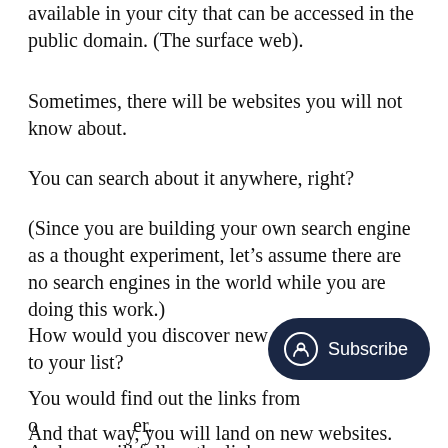available in your city that can be accessed in the public domain. (The surface web).
Sometimes, there will be websites you will not know about.
You can search about it anywhere, right?
(Since you are building your own search engine as a thought experiment, let’s assume there are no search engines in the world while you are doing this work.)
How would you discover new websites to add it to your list?
You would find out the links from one another. And you will follow the links.
And that way, you will land on new websites.